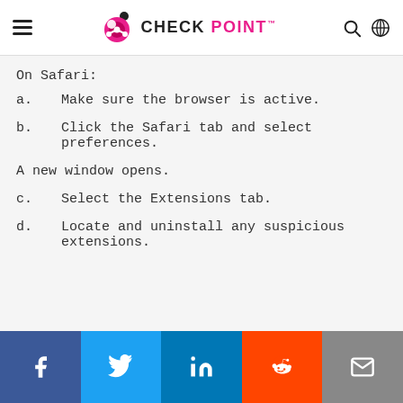CHECK POINT
On Safari:
a.    Make sure the browser is active.
b.    Click the Safari tab and select preferences.
A new window opens.
c.    Select the Extensions tab.
d.    Locate and uninstall any suspicious extensions.
Social share: Facebook, Twitter, LinkedIn, Reddit, Email